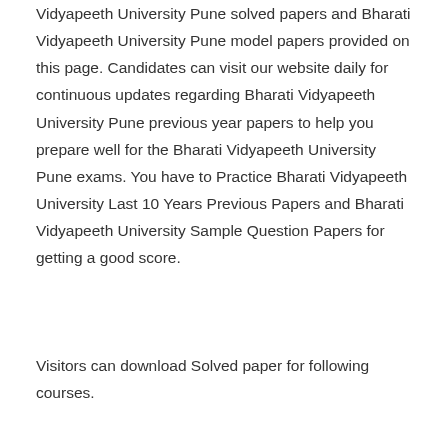Vidyapeeth University Pune solved papers and Bharati Vidyapeeth University Pune model papers provided on this page. Candidates can visit our website daily for continuous updates regarding Bharati Vidyapeeth University Pune previous year papers to help you prepare well for the Bharati Vidyapeeth University Pune exams. You have to Practice Bharati Vidyapeeth University Last 10 Years Previous Papers and Bharati Vidyapeeth University Sample Question Papers for getting a good score.
Visitors can download Solved paper for following courses.